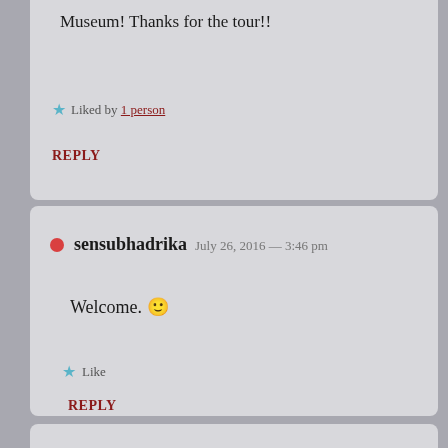Museum! Thanks for the tour!!
Liked by 1 person
REPLY
sensubhadrika  July 26, 2016 — 3:46 pm
Welcome. 🙂
Like
REPLY